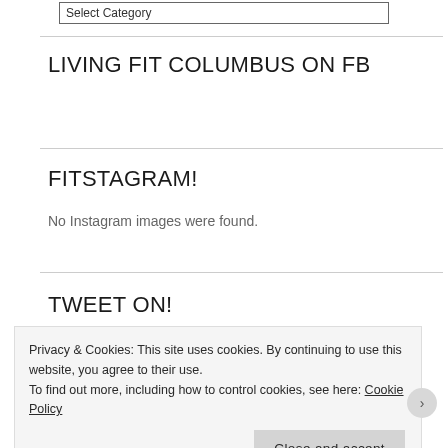Select Category
LIVING FIT COLUMBUS ON FB
FITSTAGRAM!
No Instagram images were found.
TWEET ON!
Privacy & Cookies: This site uses cookies. By continuing to use this website, you agree to their use.
To find out more, including how to control cookies, see here: Cookie Policy
Close and accept